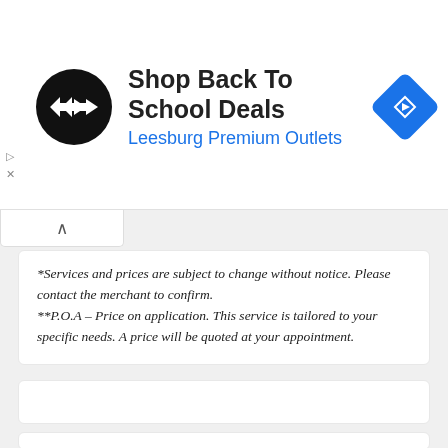[Figure (advertisement): Ad banner: black circular logo with double arrow symbol, text 'Shop Back To School Deals' in bold black, 'Leesburg Premium Outlets' in blue, and a blue diamond-shaped navigation icon on the right.]
*Services and prices are subject to change without notice. Please contact the merchant to confirm.
**P.O.A – Price on application. This service is tailored to your specific needs. A price will be quoted at your appointment.
Staff
[Figure (photo): Circular black and white portrait photo of a dark-haired woman looking directly at the camera.]